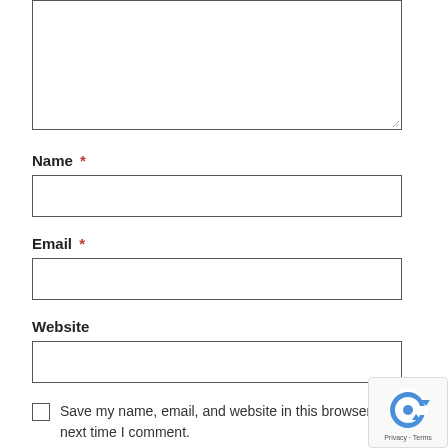[Figure (screenshot): Textarea form field (empty, resizable) at the top of the page]
Name *
[Figure (screenshot): Name input text field (empty)]
Email *
[Figure (screenshot): Email input text field (empty)]
Website
[Figure (screenshot): Website input text field (empty)]
Save my name, email, and website in this browser for the next time I comment.
[Figure (logo): reCAPTCHA badge with logo and Privacy - Terms text]